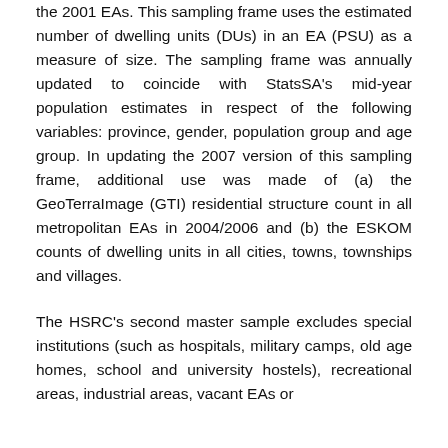the 2001 EAs. This sampling frame uses the estimated number of dwelling units (DUs) in an EA (PSU) as a measure of size. The sampling frame was annually updated to coincide with StatsSA's mid-year population estimates in respect of the following variables: province, gender, population group and age group. In updating the 2007 version of this sampling frame, additional use was made of (a) the GeoTerraImage (GTI) residential structure count in all metropolitan EAs in 2004/2006 and (b) the ESKOM counts of dwelling units in all cities, towns, townships and villages.
The HSRC's second master sample excludes special institutions (such as hospitals, military camps, old age homes, school and university hostels), recreational areas, industrial areas, vacant EAs or...